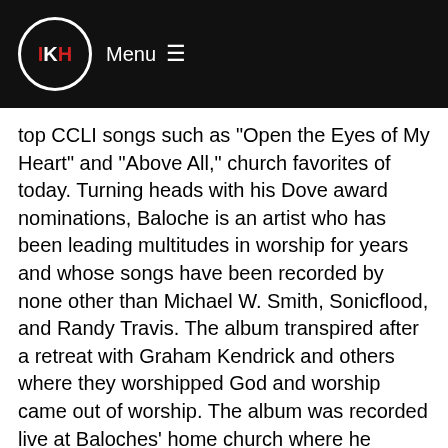IKH Menu ☰
top CCLI songs such as "Open the Eyes of My Heart" and "Above All," church favorites of today. Turning heads with his Dove award nominations, Baloche is an artist who has been leading multitudes in worship for years and whose songs have been recorded by none other than Michael W. Smith, Sonicflood, and Randy Travis. The album transpired after a retreat with Graham Kendrick and others where they worshipped God and worship came out of worship. The album was recorded live at Baloches' home church where he claims his church family belts out the praises and enjoys nothing more than truly worshipping the Lord.
A Greater Song begins with "Hosanna," which along with "Because of Your Love" and "Here and Now," were co-written by Baloche and Brenton Brown. "Hosanna" has hit airwaves like a flood and is reaching out to be heard. "Just As I Am" features Northern Ireland's very own Kathryn Scott in Baloches' arrangement of this classic. Her